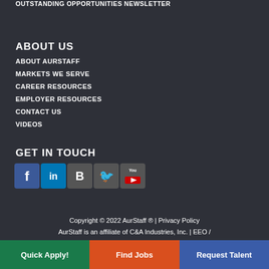OUTSTANDING OPPORTUNITIES NEWSLETTER
ABOUT US
ABOUT AURSTAFF
MARKETS WE SERVE
CAREER RESOURCES
EMPLOYER RESOURCES
CONTACT US
VIDEOS
GET IN TOUCH
[Figure (infographic): Social media icons: Facebook, LinkedIn, Blogger, Twitter, YouTube]
Copyright © 2022 AurStaff ® | Privacy Policy
AurStaff is an affiliate of C&A Industries, Inc. | EEO /
Quick Apply! | Find Jobs | Request Talent